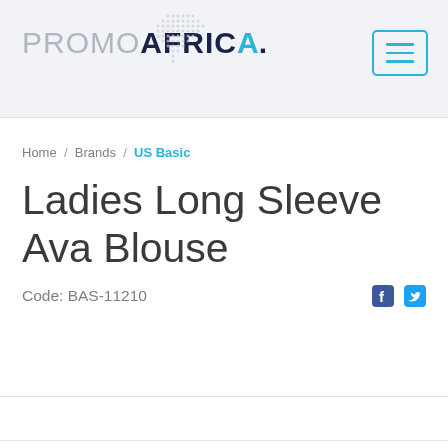PROMOAFRICA
Home / Brands / US Basic
Ladies Long Sleeve Ava Blouse
Code: BAS-11210